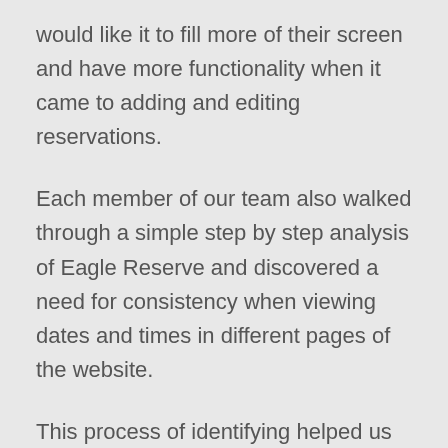would like it to fill more of their screen and have more functionality when it came to adding and editing reservations.
Each member of our team also walked through a simple step by step analysis of Eagle Reserve and discovered a need for consistency when viewing dates and times in different pages of the website.
This process of identifying helped us prioritize what needed to be addressed first so that we could begin creating an